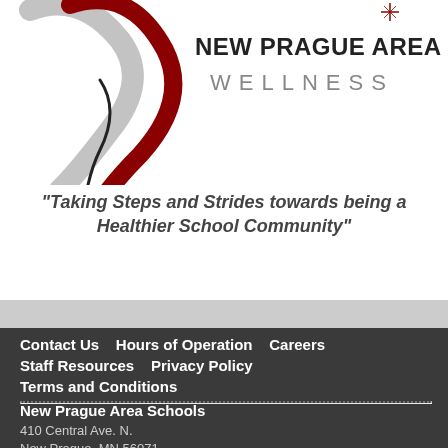[Figure (logo): New Prague Area Schools Wellness logo with stylized figure and text]
"Taking Steps and Strides towards being a Healthier School Community"
Contact Us   Hours of Operation   Careers   Staff Resources   Privacy Policy   Terms and Conditions
New Prague Area Schools
410 Central Ave. N.
New Prague, MN 56071